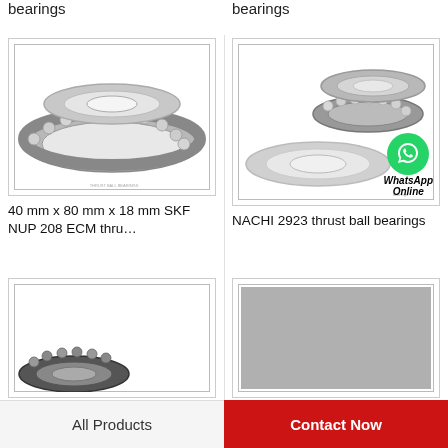bearings
bearings
[Figure (photo): Thrust ball bearing (SKF NUP 208 ECM) showing two rings with ball bearings, metallic finish, on white background with thin border frame]
40 mm x 80 mm x 18 mm SKF NUP 208 ECM thru…
[Figure (photo): NACHI 2923 thrust ball bearing shown disassembled into components - flat race, ball cage, and housing washer. WhatsApp Online overlay in bottom right corner.]
NACHI 2923 thrust ball bearings
[Figure (photo): Partial view of another thrust ball bearing, black metallic, partially visible at bottom of page]
[Figure (photo): Gray placeholder image partially visible at bottom right]
All Products
Contact Now